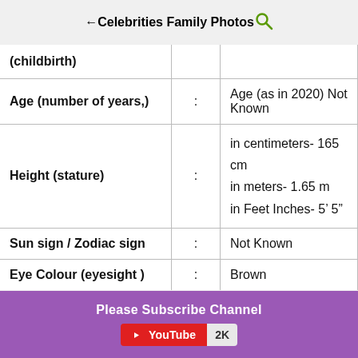Celebrities Family Photos
| Attribute | : | Value |
| --- | --- | --- |
| (childbirth) | : |  |
| Age (number of years,) | : | Age (as in 2020) Not Known |
| Height (stature) | : | in centimeters- 165 cm
in meters- 1.65 m
in Feet Inches- 5' 5" |
| Sun sign / Zodiac sign | : | Not Known |
| Eye Colour (eyesight ) | : | Brown |
Please Subscribe Channel